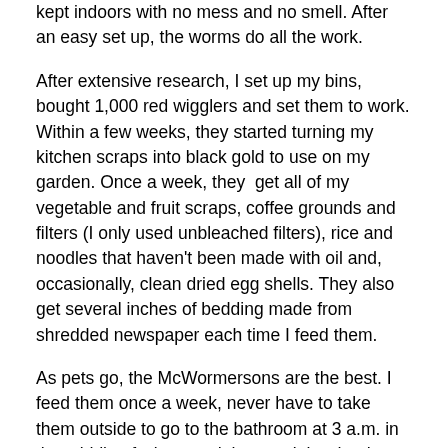kept indoors with no mess and no smell. After an easy set up, the worms do all the work.
After extensive research, I set up my bins, bought 1,000 red wigglers and set them to work. Within a few weeks, they started turning my kitchen scraps into black gold to use on my garden. Once a week, they  get all of my vegetable and fruit scraps, coffee grounds and filters (I only used unbleached filters), rice and noodles that haven't been made with oil and, occasionally, clean dried egg shells. They also get several inches of bedding made from shredded newspaper each time I feed them.
As pets go, the McWormersons are the best. I feed them once a week, never have to take them outside to go to the bathroom at 3 a.m. in the middle of winter and they work harder than any pet I've ever had. As far as I can tell, they